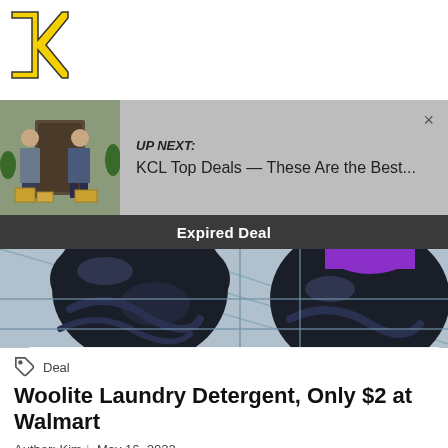[Figure (logo): KCL logo — yellow K with black outline]
UP NEXT: KCL Top Deals — These Are the Best...
Expired Deal
[Figure (photo): Close-up photo of dark blue Woolite laundry detergent bottles in a shopping cart, one with a purple cap visible at top right]
Deal
Woolite Laundry Detergent, Only $2 at Walmart
Author: Kim | May 16, 2022
Walmart
Extreme Couponing
Ibotta Deals